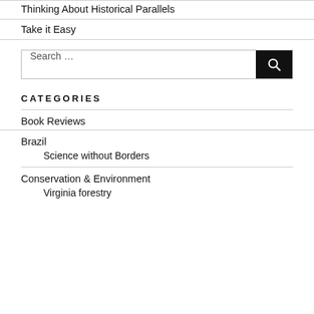Thinking About Historical Parallels
Take it Easy
Search …
CATEGORIES
Book Reviews
Brazil
Science without Borders
Conservation & Environment
Virginia forestry